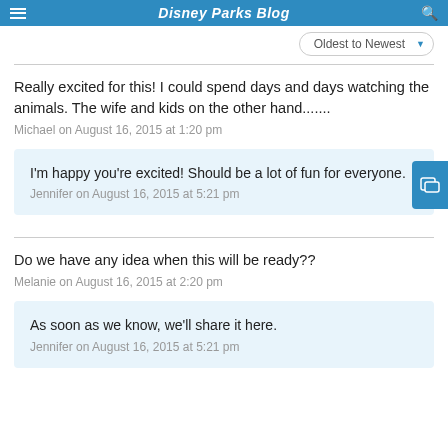Disney Parks Blog
Oldest to Newest
Really excited for this! I could spend days and days watching the animals. The wife and kids on the other hand.......
Michael on August 16, 2015 at 1:20 pm
I'm happy you're excited! Should be a lot of fun for everyone.
Jennifer on August 16, 2015 at 5:21 pm
Do we have any idea when this will be ready??
Melanie on August 16, 2015 at 2:20 pm
As soon as we know, we'll share it here.
Jennifer on August 16, 2015 at 5:21 pm